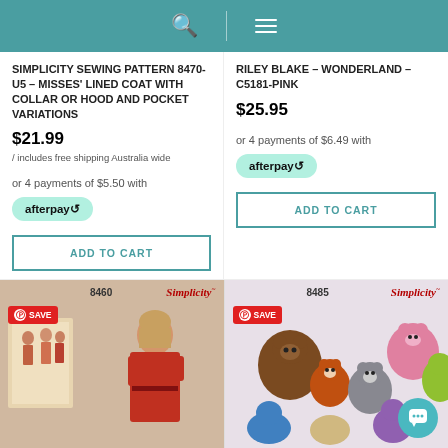Search and Menu navigation header
SIMPLICITY SEWING PATTERN 8470-U5 – MISSES' LINED COAT WITH COLLAR OR HOOD AND POCKET VARIATIONS
$21.99 / includes free shipping Australia wide
or 4 payments of $5.50 with afterpay
RILEY BLAKE – WONDERLAND – C5181-PINK
$25.95
or 4 payments of $6.49 with afterpay
[Figure (photo): Sewing pattern 8460 showing women in dresses, Simplicity brand]
[Figure (photo): Sewing pattern 8485 showing animal-themed plush/pillows, Simplicity brand]